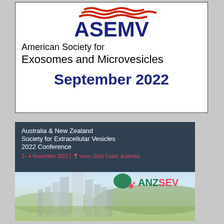[Figure (logo): ASEMV logo with red/blue stripe graphic above the text 'ASEMV' in bold dark blue, and below: 'American Society for Exosomes and Microvesicles', then 'September 2022' in large bold dark blue text]
[Figure (illustration): ANZSEV conference banner: dark header with text 'Australia & New Zealand Society for Extracellular Vesicles 2022 Conference', date '2– 4 November 2022 | voco, Gold Coast, Australia' in pink, ANZSEV logo (green blob + pink dot), and Gold Coast skyline photo background]